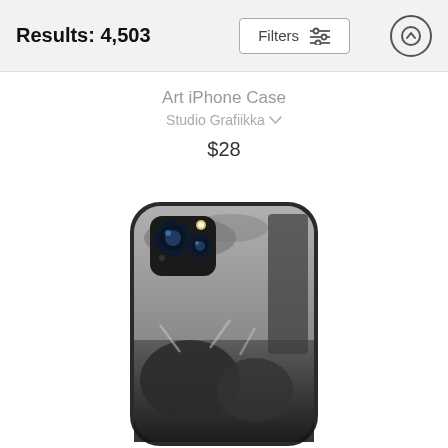Results: 4,503
[Figure (screenshot): Filters button with slider icon and up-arrow circle button in header bar]
Art iPhone Case
Studio Grafiikka
$28
[Figure (photo): iPhone case featuring a dark classical engraving artwork showing skeletal and crowd figures, black and white illustration style]